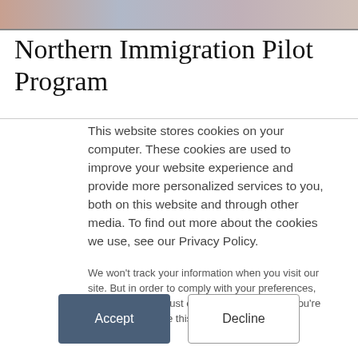[Figure (photo): Top banner image with muted colors suggesting a flag or government imagery]
Northern Immigration Pilot Program
This website stores cookies on your computer. These cookies are used to improve your website experience and provide more personalized services to you, both on this website and through other media. To find out more about the cookies we use, see our Privacy Policy.
We won't track your information when you visit our site. But in order to comply with your preferences, we'll have to use just one tiny cookie so that you're not asked to make this choice again.